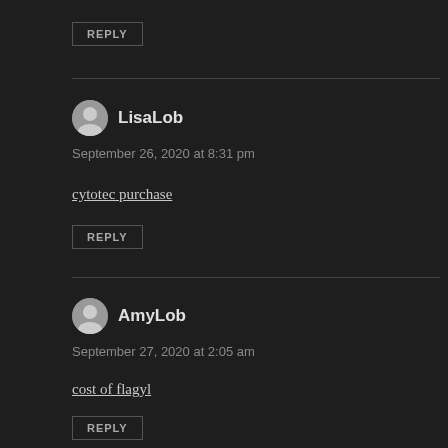REPLY
LisaLob
September 26, 2020 at 8:31 pm
cytotec purchase
REPLY
AmyLob
September 27, 2020 at 2:05 am
cost of flagyl
REPLY